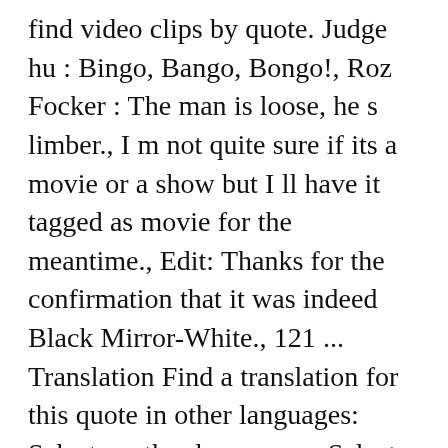find video clips by quote. Judge hu : Bingo, Bango, Bongo!, Roz Focker : The man is loose, he s limber., I m not quite sure if its a movie or a show but I ll have it tagged as movie for the meantime., Edit: Thanks for the confirmation that it was indeed Black Mirror-White., 121 ... Translation Find a translation for this quote in other languages: Select another language: - Select - ... Use the citation below to add this movie quote to your bibliography: Style:MLA Chicago APA "Quantum Leap, Season 4 Quotes." Bingo Bongo - Un film di Pasquale Festa Campanile. Bingo Bango Bongo --Card Trick. Web. რეკლამის განთავსება. Papa? Snells Bingo Bongos Waiheke 24/12/2007. Find the exact moment in a TV show, movie, or music video